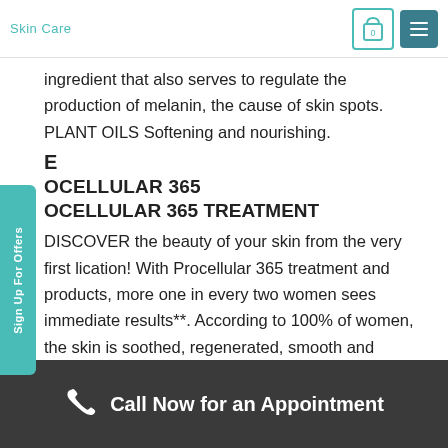Skin Care
ingredient that also serves to regulate the production of melanin, the cause of skin spots. PLANT OILS Softening and nourishing.
E
OCELLULAR 365
OCELLULAR 365 TREATMENT
DISCOVER the beauty of your skin from the very first lication! With Procellular 365 treatment and products, more one in every two women sees immediate results**. According to 100% of women, the skin is soothed, regenerated, smooth and impeccable** For the first time, DIBI MILANO introduces to its range a treatment tested on women who have
Call Now for an Appointment